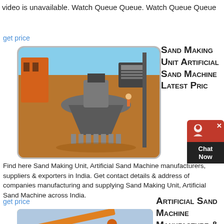video is unavailable. Watch Queue Queue. Watch Queue Queue
get price
[Figure (photo): Industrial sand making machine / cone crusher equipment on a construction site with orange machinery in the background and a blue sky.]
Sand Making Unit Artificial Sand Machine Latest Price
Find here Sand Making Unit, Artificial Sand Machine manufacturers, suppliers & exporters in India. Get contact details & address of companies manufacturing and supplying Sand Making Unit, Artificial Sand Machine across India.
get price
[Figure (photo): Artificial sand machine / conveyor belt equipment outdoors under a cloudy sky.]
Artificial Sand Machine Manufacture & Supplier